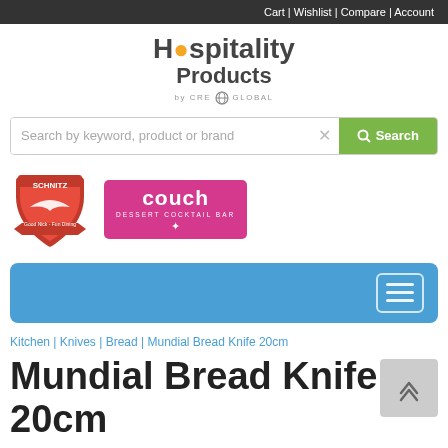Cart | Wishlist | Compare | Account
[Figure (logo): Hospitality Products by CRE Global logo]
[Figure (screenshot): Search bar with placeholder 'Search by keyword, product or brand' and green Search button]
[Figure (logo): Schnitz and Couch Dessert Cocktail Bar brand logos]
[Figure (screenshot): Blue navigation bar with hamburger menu icon]
Kitchen | Knives | Bread | Mundial Bread Knife 20cm
Mundial Bread Knife 20cm